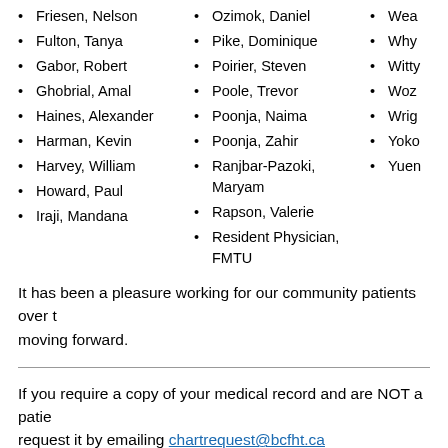Friesen, Nelson
Fulton, Tanya
Gabor, Robert
Ghobrial, Amal
Haines, Alexander
Harman, Kevin
Harvey, William
Howard, Paul
Iraji, Mandana
Ozimok, Daniel
Pike, Dominique
Poirier, Steven
Poole, Trevor
Poonja, Naima
Poonja, Zahir
Ranjbar-Pazoki, Maryam
Rapson, Valerie
Resident Physician, FMTU
Wea…
Why…
Witty…
Woz…
Wrig…
Yoko…
Yuen…
It has been a pleasure working for our community patients over t… moving forward.
If you require a copy of your medical record and are NOT a patie… request it by emailing chartrequest@bcfht.ca
Patients of FHO physicians should always request records from t…